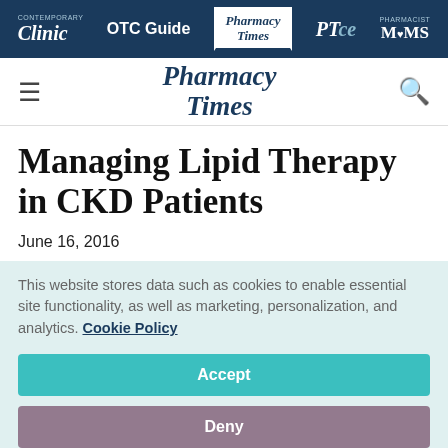Clinic | OTC Guide | Pharmacy Times | PTce | Pharmacist MOMS
[Figure (logo): Pharmacy Times logo in main navigation header]
Managing Lipid Therapy in CKD Patients
June 16, 2016
This website stores data such as cookies to enable essential site functionality, as well as marketing, personalization, and analytics. Cookie Policy
Accept
Deny